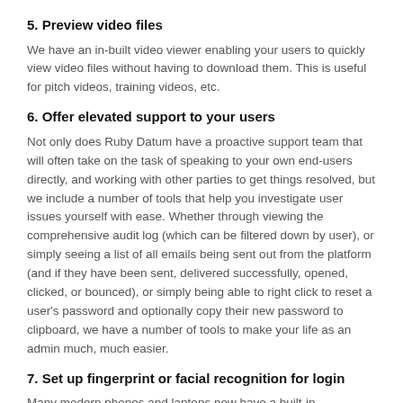5. Preview video files
We have an in-built video viewer enabling your users to quickly view video files without having to download them. This is useful for pitch videos, training videos, etc.
6. Offer elevated support to your users
Not only does Ruby Datum have a proactive support team that will often take on the task of speaking to your own end-users directly, and working with other parties to get things resolved, but we include a number of tools that help you investigate user issues yourself with ease. Whether through viewing the comprehensive audit log (which can be filtered down by user), or simply seeing a list of all emails being sent out from the platform (and if they have been sent, delivered successfully, opened, clicked, or bounced), or simply being able to right click to reset a user's password and optionally copy their new password to clipboard, we have a number of tools to make your life as an admin much, much easier.
7. Set up fingerprint or facial recognition for login
Many modern phones and laptops now have a built-in